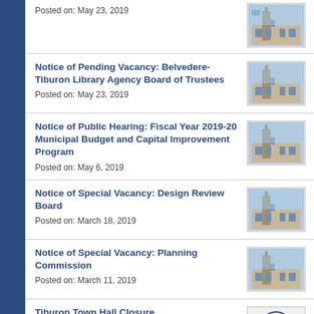Posted on: May 23, 2019
[Figure (photo): Tiburon Town Hall building exterior]
Notice of Pending Vacancy: Belvedere-Tiburon Library Agency Board of Trustees
Posted on: May 23, 2019
[Figure (photo): Tiburon Town Hall building exterior]
Notice of Public Hearing: Fiscal Year 2019-20 Municipal Budget and Capital Improvement Program
Posted on: May 6, 2019
[Figure (photo): Tiburon Town Hall building exterior]
Notice of Special Vacancy: Design Review Board
Posted on: March 18, 2019
[Figure (photo): Tiburon Town Hall building exterior]
Notice of Special Vacancy: Planning Commission
Posted on: March 11, 2019
[Figure (photo): Tiburon Town Hall building exterior]
Tiburon Town Hall Closure
[Figure (logo): Tiburon town seal/logo]